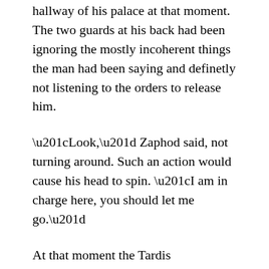hallway of his palace at that moment. The two guards at his back had been ignoring the mostly incoherent things the man had been saying and definetly not listening to the orders to release him.
“Look,” Zaphod said, not turning around. Such an action would cause his head to spin. “I am in charge here, you should let me go.”
At that moment the Tardis rematerialized in the room. However it did not materialize on the ground as it had for the predominate number of times it had materialized. It appeared several meters above the ground.
Di